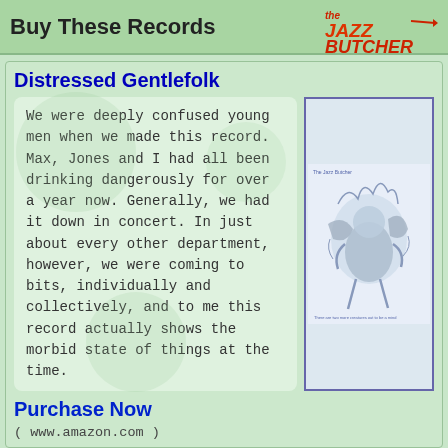Buy These Records
Distressed Gentlefolk
We were deeply confused young men when we made this record. Max, Jones and I had all been drinking dangerously for over a year now. Generally, we had it down in concert. In just about every other department, however, we were coming to bits, individually and collectively, and to me this record actually shows the morbid state of things at the time.
[Figure (illustration): Album cover for Distressed Gentlefolk by The Jazz Butcher - a blue-toned illustration of a wild creature or figure amid foliage]
[Figure (logo): The Jazz Butcher logo in red/orange stylized text]
Purchase Now
( www.amazon.com )
Angels